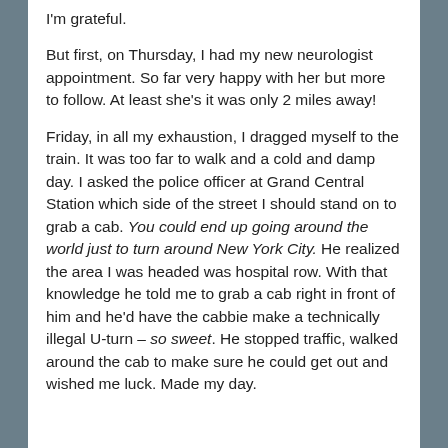I'm grateful.
But first, on Thursday, I had my new neurologist appointment. So far very happy with her but more to follow. At least she's it was only 2 miles away!
Friday, in all my exhaustion, I dragged myself to the train. It was too far to walk and a cold and damp day. I asked the police officer at Grand Central Station which side of the street I should stand on to grab a cab. You could end up going around the world just to turn around New York City. He realized the area I was headed was hospital row. With that knowledge he told me to grab a cab right in front of him and he'd have the cabbie make a technically illegal U-turn – so sweet. He stopped traffic, walked around the cab to make sure he could get out and wished me luck. Made my day.